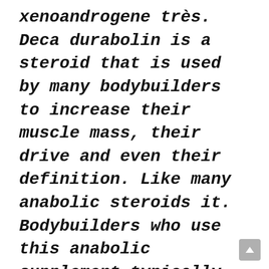xenoandrogene très. Deca durabolin is a steroid that is used by many bodybuilders to increase their muscle mass, their drive and even their definition. Like many anabolic steroids it. Bodybuilders who use this anabolic supplement typically cycle it. This gab is terrible! Stacking deca